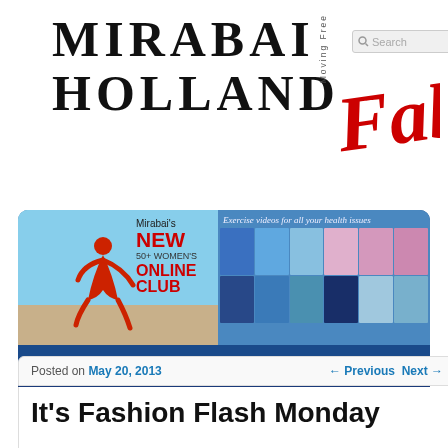MIRABAI HOLLAND
[Figure (screenshot): Mirabai Holland Moving Free website screenshot showing brand logo with 'Fab' red cursive text, search bar, banner with exercise promotion for '50+ Women's Online Club', navigation menu with HOME, LOG-IN, ABOUT, SHOP, JOIN WORKOUT CLUB, BLOG, COACH, CONTACT]
Posted on May 20, 2013 ← Previous Next →
It's Fashion Flash Monday